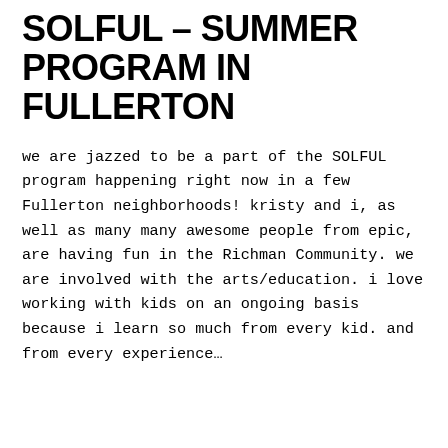SOLFUL – SUMMER PROGRAM IN FULLERTON
we are jazzed to be a part of the SOLFUL program happening right now in a few Fullerton neighborhoods! kristy and i, as well as many many awesome people from epic, are having fun in the Richman Community. we are involved with the arts/education. i love working with kids on an ongoing basis because i learn so much from every kid. and from every experience…